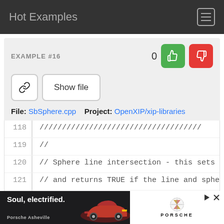Hot Examples
EXAMPLE #16
File: SbSphere.cpp   Project: OpenXIP/xip-libraries
118  //////////////////////////////////////////
119  //
120  // Sphere line intersection - this sets the
121  // and returns TRUE if the line and sphere
122  //
123  // line-sphere intersection algorithm lifte
124  // Glassner's "Introduction to Ray Tracing"
125  //
126  SbBool
[Figure (screenshot): Advertisement banner for Porsche Asheville: Soul, electrified. Shows a red Porsche car and Porsche logo on white background.]